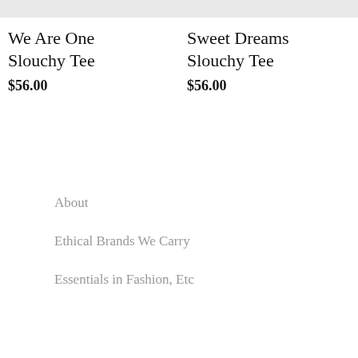[Figure (photo): Product image placeholder for We Are One Slouchy Tee (gray bar)]
[Figure (photo): Product image placeholder for Sweet Dreams Slouchy Tee (gray bar)]
We Are One Slouchy Tee
$56.00
Sweet Dreams Slouchy Tee
$56.00
About
Ethical Brands We Carry
Essentials in Fashion, Etc